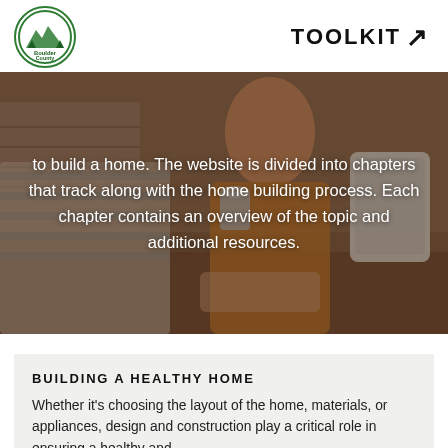Boulder County | TOOLKIT ↗
[Figure (photo): Two people looking at a tablet, one holding a mug, sitting at a table. Overlaid with text about a home building guide website divided into chapters.]
to build a home. The website is divided into chapters that track along with the home building process. Each chapter contains an overview of the topic and additional resources.
BUILDING A HEALTHY HOME
Whether it's choosing the layout of the home, materials, or appliances, design and construction play a critical role in ensuring a healthy and